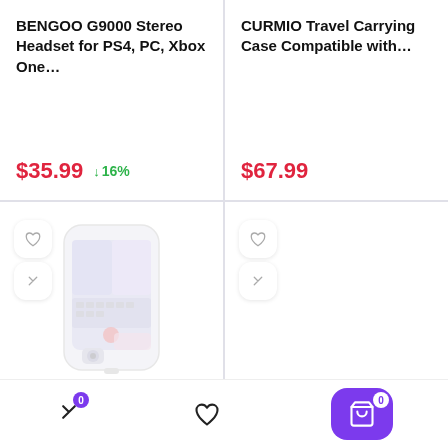BENGOO G9000 Stereo Headset for PS4, PC, Xbox One...
$35.99  ↓16%
CURMIO Travel Carrying Case Compatible with...
$67.99
[Figure (photo): Gameboy Case for iPhone product photo]
Gameboy Case for iPhone, Autbye
[Figure (other): Empty product card with heart and shuffle icons]
Micro SD Card 1TB Class 10 High Speed